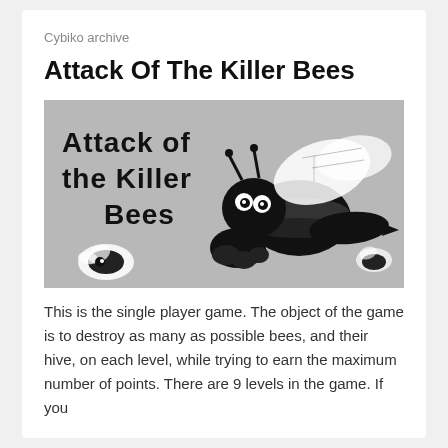Cybiko archive
Attack Of The Killer Bees
[Figure (illustration): Game splash screen image for 'Attack of the Killer Bees' showing the game title text on the left and a large cartoon bee on the right against a grey stippled background. A smaller bee is visible in the lower left.]
This is the single player game. The object of the game is to destroy as many as possible bees, and their hive, on each level, while trying to earn the maximum number of points. There are 9 levels in the game. If you